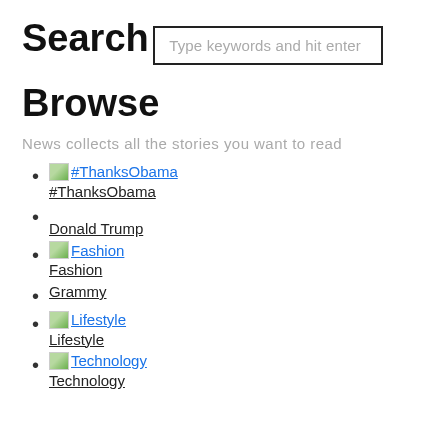Search
Type keywords and hit enter
Browse
News collects all the stories you want to read
#ThanksObama
Donald Trump
Fashion
Grammy
Lifestyle
Technology